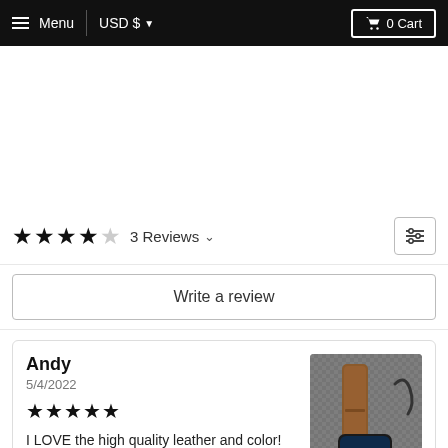Menu  USD $  0 Cart
★★★★☆ 3 Reviews
Write a review
Andy
5/4/2022
★★★★★
I LOVE the high quality leather and color! This fit my 45mm Apple watch
[Figure (photo): Photo of a brown leather Apple Watch band on a grey woven textile pouch with a smartwatch showing 15:06]